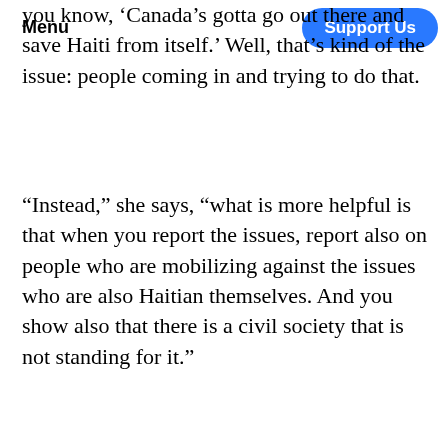Menu | Support Us
you know, 'Canada's gotta go out there and save Haiti from itself.' Well, that's kind of the issue: people coming in and trying to do that.
“Instead,” she says, “what is more helpful is that when you report the issues, report also on people who are mobilizing against the issues who are also Haitian themselves. And you show also that there is a civil society that is not standing for it.”